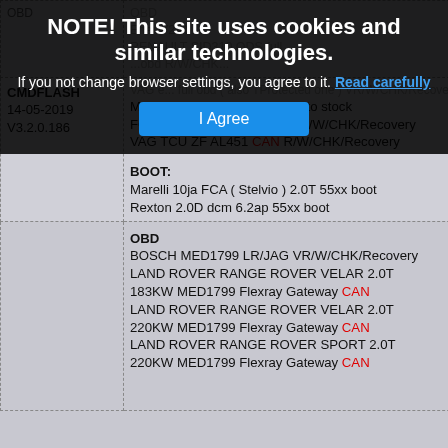[Figure (screenshot): Cookie consent banner overlay on a dark background: 'NOTE! This site uses cookies and similar technologies. If you not change browser settings, you agree to it. Read carefully [I Agree button]']
|  |  |
| --- | --- |
| CMDFLASH
14-05-2019
V3.2.0.186 | OBD
...(partial top)
Ener V2/R...(partial)
RENAULT SID310 ODS full
...obd R/W/CHK...
VAG e... full obd ( also TProtected one ) VR/W/CHK/Recovery
MERCEDES MEDC17 - Back to stock
FORD SID807EVO full OBD R/W/CHK/Recovery
VAG TCU ZF AL451 CAN R/W/CHK/Recovery

BOOT:
Marelli 10ja FCA ( Stelvio ) 2.0T 55xx boot
Rexton 2.0D dcm 6.2ap 55xx boot |
|  | OBD
BOSCH MED1799 LR/JAG VR/W/CHK/Recovery
LAND ROVER RANGE ROVER VELAR 2.0T 183KW MED1799 Flexray Gateway CAN
LAND ROVER RANGE ROVER VELAR 2.0T 220KW MED1799 Flexray Gateway CAN
LAND ROVER RANGE ROVER SPORT 2.0T 220KW MED1799 Flexray Gateway CAN |